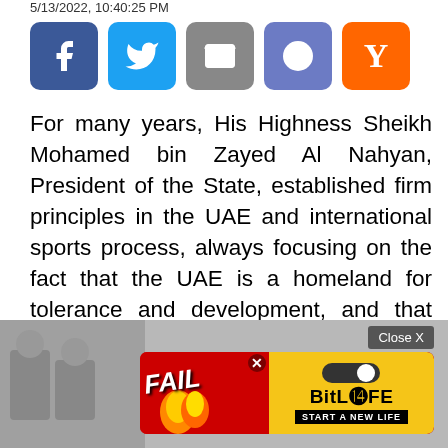5/13/2022, 10:40:25 PM
[Figure (other): Social media sharing buttons: Facebook (blue), Twitter (light blue), Email (gray), Reddit (blue-purple), Y Combinator (orange)]
For many years, His Highness Sheikh Mohamed bin Zayed Al Nahyan, President of the State, established firm principles in the UAE and international sports process, always focusing on the fact that the UAE is a homeland for tolerance and development, and that sport is a message of peace and love for all, as His Highness has always supported the sports movement in a
[Figure (photo): Photo of people in traditional UAE attire, partially visible at bottom of page, with advertisement overlay showing BitLife game ad with 'FAIL' text and 'START A NEW LIFE' tagline, and a Close X button]